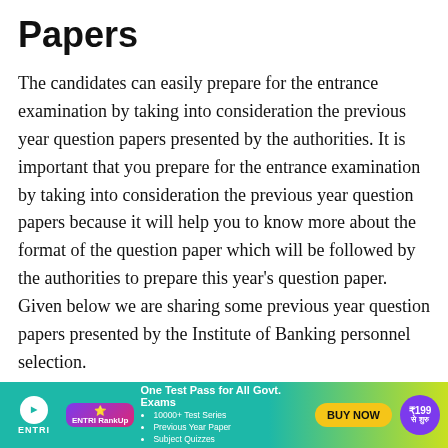Papers
The candidates can easily prepare for the entrance examination by taking into consideration the previous year question papers presented by the authorities. It is important that you prepare for the entrance examination by taking into consideration the previous year question papers because it will help you to know more about the format of the question paper which will be followed by the authorities to prepare this year’s question paper. Given below we are sharing some previous year question papers presented by the Institute of Banking personnel selection.
| Exam | Link/PDF |
| --- | --- |
|  | IBPS PO Prelims 2020 |
[Figure (infographic): Advertisement banner for ENTRI RankUp: One Test Pass for All Govt. Exams. Features ENTRI logo, RankUp badge, bullet points listing 10000+ Test Series, Previous Year Paper, Subject Quizzes, a BUY NOW button, and price badge showing ₹199 se shuru.]